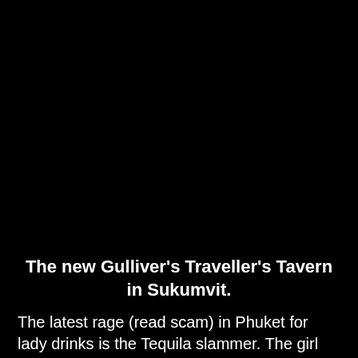[Figure (photo): Large black area occupying the top portion of the page, representing a dark/night photograph of Gulliver's Traveller's Tavern in Sukumvit.]
The new Gulliver's Traveller's Tavern in Sukumvit.
The latest rage (read scam) in Phuket for lady drinks is the Tequila slammer. The girl sidles up to you in the gogo bar, flutters her eyelashes and says "You...